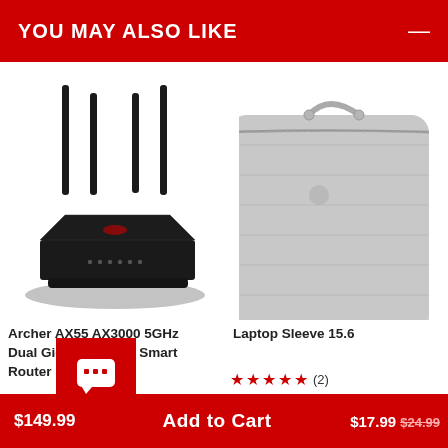YOU MAY ALSO LIKE
[Figure (photo): Black TP-Link Wi-Fi router with four antennas (Archer AX55 AX3000 5GHz Dual Band Gigabit Wi-Fi 6 Smart Router)]
[Figure (photo): Gray fabric laptop sleeve 15.6 inch, partially visible on right side]
Archer AX55 AX3000 5GHz Dual Band Gigabit Wi-Fi 6 Smart Router
Laptop Sleeve 15.6
★★★★★ (2)
$149.99
Add to Cart
$17.99 $24.99